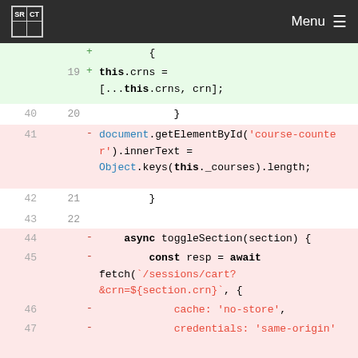SRCT Menu
[Figure (screenshot): Code diff view showing JavaScript source code changes with line numbers, added lines highlighted green, removed lines highlighted pink/red. Lines 19-50 visible with toggleSection method and related code.]